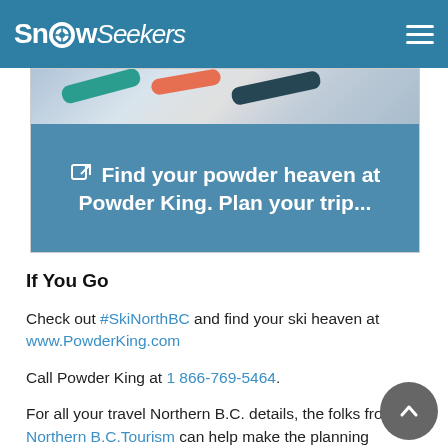SnowSeekers
[Figure (screenshot): Banner image with snowboard photo and blue overlay containing text: Find your powder heaven at Powder King. Plan your trip...]
If You Go
Check out #SkiNorthBC and find your ski heaven at www.PowderKing.com
Call Powder King at 1 866-769-5464.
For all your travel Northern B.C. details, the folks from Northern B.C.Tourism can help make the planning process smooth.